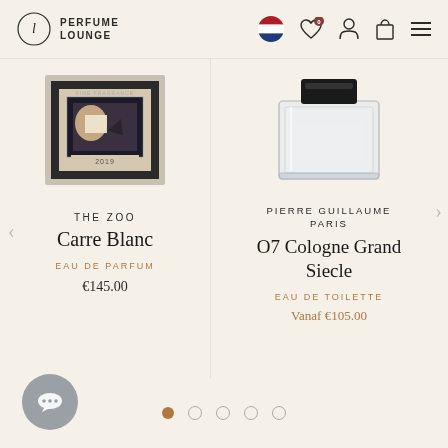PERFUME LOUNGE
[Figure (photo): Product image of The Zoo Carre Blanc perfume box with vintage photographic imagery]
THE ZOO
Carre Blanc
EAU DE PARFUM
€145.00
[Figure (photo): Product image of Pierre Guillaume Paris O7 Cologne Grand Siecle clear glass perfume bottle]
PIERRE GUILLAUME PARIS
O7 Cologne Grand Siecle
EAU DE TOILETTE
Vanaf €105.00